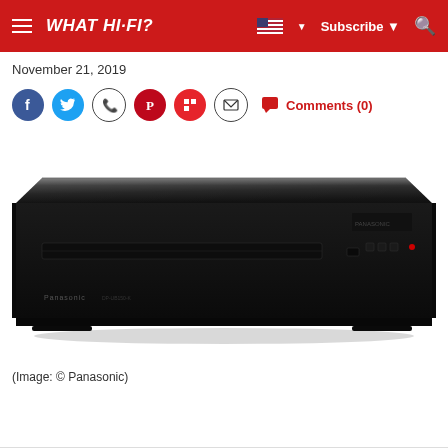WHAT HI-FI? | Subscribe | Search
November 21, 2019
[Figure (screenshot): Social sharing icons row: Facebook, Twitter, WhatsApp, Pinterest, Flipboard, Email, and Comments (0) link in red]
[Figure (photo): Panasonic UHD Blu-ray player, black, front view showing disc slot and controls]
(Image: © Panasonic)